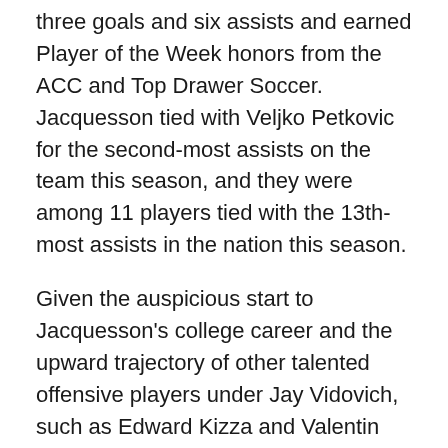three goals and six assists and earned Player of the Week honors from the ACC and Top Drawer Soccer. Jacquesson tied with Veljko Petkovic for the second-most assists on the team this season, and they were among 11 players tied with the 13th-most assists in the nation this season.
Given the auspicious start to Jacquesson's college career and the upward trajectory of other talented offensive players under Jay Vidovich, such as Edward Kizza and Valentin Noel, it seems the best is yet to come from the freshman. And he will have additional opportunities to build on his early success in the coming days and weeks, as Pitt is set to play in the ACC final and then compete for higher honors in the NCAA tournament.